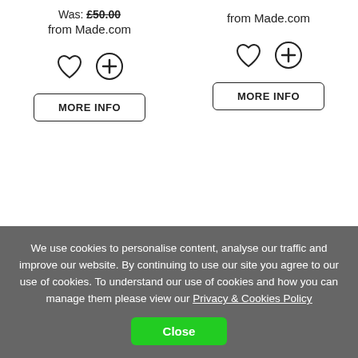Was: £50.00
from Made.com
[Figure (illustration): Heart icon and circle-plus icon buttons for left product]
MORE INFO
from Made.com
[Figure (illustration): Heart icon and circle-plus icon buttons for right product]
MORE INFO
We use cookies to personalise content, analyse our traffic and improve our website. By continuing to use our site you agree to our use of cookies. To understand our use of cookies and how you can manage them please view our Privacy & Cookies Policy
Close